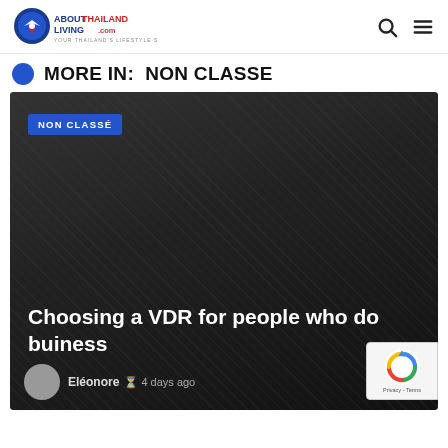ABOUTTHAILANDLIVING.com — YOUR THAILAND'S LIFESTYLE SOURCE
MORE IN: NON CLASSE
[Figure (screenshot): Dark card with NON CLASSÉ badge, title 'Choosing a VDR for people who do buiness', author Eléonore, 4 days ago]
Privacy - Terms (reCAPTCHA badge)